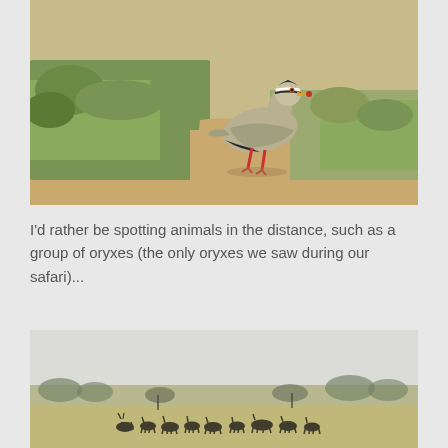[Figure (photo): A crowned lapwing bird standing on sandy ground with green grass in the background. The bird has distinctive black and white head markings and red legs.]
I'd rather be spotting animals in the distance, such as a group of oryxes (the only oryxes we saw during our safari)...
[Figure (photo): A distant landscape photo showing a group of oryxes and other animals silhouetted against a misty savanna backdrop with trees on the horizon.]